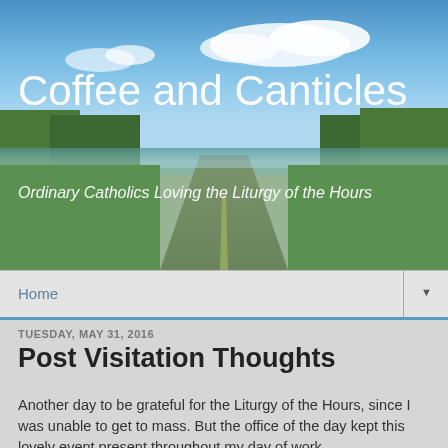[Figure (photo): Blog header image showing a road stretching into the distance with blue sky, clouds, and green trees on either side. Large white text reads 'Coffee and Canticles' with subtitle 'Ordinary Catholics Loving the Liturgy of the Hours'.]
Home
TUESDAY, MAY 31, 2016
Post Visitation Thoughts
Another day to be grateful for the Liturgy of the Hours, since I was unable to get to mass. But the office of the day kept this lovely event present throughout my day of work.
This is the day for the slothful to ask Our Lady for help with their besetting sin. At least, so says Dante. In the Purgatorio, souls who are being purified of this sin are made to run. And run. And run.